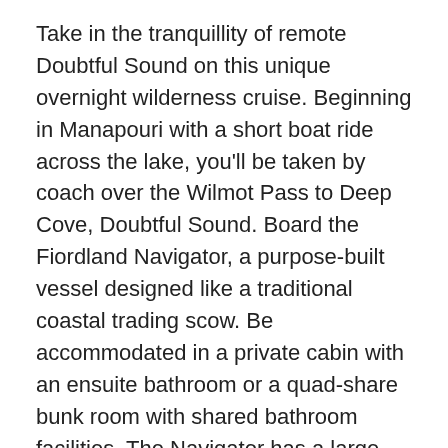Take in the tranquillity of remote Doubtful Sound on this unique overnight wilderness cruise. Beginning in Manapouri with a short boat ride across the lake, you'll be taken by coach over the Wilmot Pass to Deep Cove, Doubtful Sound. Board the Fiordland Navigator, a purpose-built vessel designed like a traditional coastal trading scow. Be accommodated in a private cabin with an ensuite bathroom or a quad-share bunk room with shared bathroom facilities. The Navigator has a large spacious deck for viewing the scenery and wildlife as well as a dining saloon, bar and observation lounge. As you take in the stunning scenery of the Fiord, you'll be provided with a running commentary of the area and its history, points of interest and wildlife. You'll have the opportunity to see dolphins, fur seals and, if you're lucky rare Fiordland penguins. After anchoring in a sheltered cove, choose to explore the shoreline by kayak or stabicraft, or if you're really brave take a dip in the water. In the evening enjoy a three-course buffet dinner prepared on board and served in the dining saloon. Enjoy beer and fine wines from the licensed bar, and spend time star gazing on the